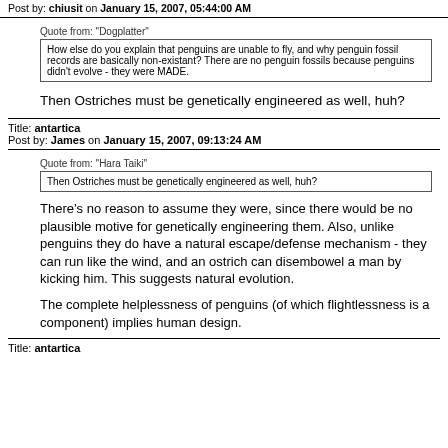Post by: chiusit on January 15, 2007, 05:44:00 AM
Quote from: "Dogplatter"
How else do you explain that penguins are unable to fly, and why penguin fossil records are basically non-existant? There are no penguin fossils because penguins didn't evolve - they were MADE.
Then Ostriches must be genetically engineered as well, huh?
Title: antartica
Post by: James on January 15, 2007, 09:13:24 AM
Quote from: "Hara Taiki"
Then Ostriches must be genetically engineered as well, huh?
There’s no reason to assume they were, since there would be no plausible motive for genetically engineering them. Also, unlike penguins they do have a natural escape/defense mechanism - they can run like the wind, and an ostrich can disembowel a man by kicking him. This suggests natural evolution.
The complete helplessness of penguins (of which flightlessness is a component) implies human design.
Title: antartica